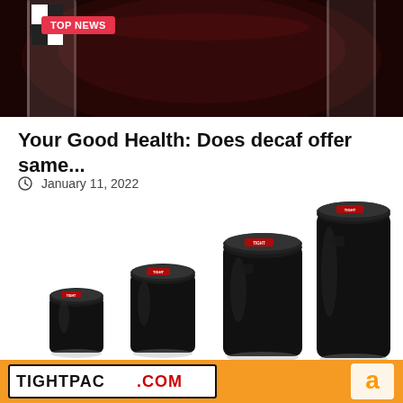[Figure (photo): Dark coffee in a glass cup viewed from above, dark reddish-brown liquid filling the cup]
TOP NEWS
Your Good Health: Does decaf offer same...
January 11, 2022
[Figure (photo): Four black TightPac vacuum sealed containers of increasing sizes arranged left to right on a white background]
[Figure (logo): TightPac.com logo on orange background with Amazon logo on the right]